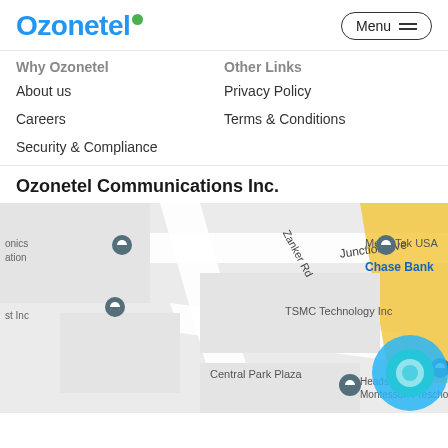Ozonetel  Menu
Why Ozonetel
Other Links
About us
Privacy Policy
Careers
Terms & Conditions
Security & Compliance
Ozonetel Communications Inc.
[Figure (map): Google Maps view showing Ozonetel Communications Inc. location near TSMC Technology Inc, Central Park Plaza, MediaTek USA, Chase Bank, HeadsUp! Montessori Preschool, along Junction Ave and Zanker Rd.]